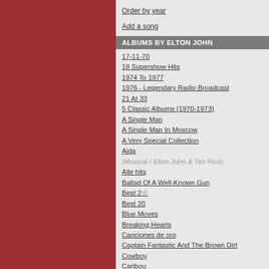Order by year
Add a song
ALBUMS BY ELTON JOHN
17-11-70
18 Supershow Hits
1974 To 1977
1976 - Legendary Radio Broadcast
21 At 33
5 Classic Albums (1970-1973)
A Single Man
A Single Man In Moscow
A Very Special Collection
Aida (Musical / Elton John & Tim Rice)
Alle hits
Ballad Of A Well-Known Gun
Best 2☆
Best 20
Blue Moves
Breaking Hearts
Canciones de oro
Captain Fantastic And The Brown Dirt Cowboy
Caribou
Chartbusters Go Pop!
Crocodile Rock
Daniel
Diamonds
Don't Shoot Me I'm Only The Piano Player
Double
Duets
Elton John
Elton John [1979]
Elton John Band featuring John Lennon And The…